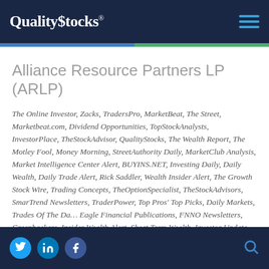QualityStocks®
Alliance Resource Partners LP (ARLP)
The Online Investor, Zacks, TradersPro, MarketBeat, The Street, Marketbeat.com, Dividend Opportunities, TopStockAnalysts, InvestorPlace, TheStockAdvisor, QualityStocks, The Wealth Report, The Motley Fool, Money Morning, StreetAuthority Daily, MarketClub Analysis, Market Intelligence Center Alert, BUYINS.NET, Investing Daily, Daily Wealth, Daily Trade Alert, Rick Saddler, Wealth Insider Alert, The Growth Stock Wire, Trading Concepts, TheOptionSpecialist, TheStockAdvisors, SmarTrend Newsletters, TraderPower, Top Pros' Top Picks, Daily Markets, Trades Of The Day, Eagle Financial Publications, FNNO Newsletters, Greenbackers, Insider Wealth Alert, Short Term Wealth, Investor Update, Leeb's Market Forecast, TheTradingReport, TheStreet Offers, Money and Markets, Politics AndMPortfolio, Streetinsider, Marketwire,
Social icons: Twitter, LinkedIn, Facebook | Search